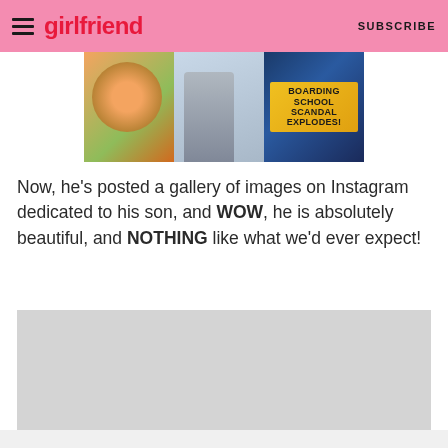girlfriend SUBSCRIBE
[Figure (photo): Advertisement banner showing magazine covers including one with text 'BOARDING SCHOOL SCANDAL EXPLODES!' and food/fashion imagery]
Now, he's posted a gallery of images on Instagram dedicated to his son, and WOW, he is absolutely beautiful, and NOTHING like what we'd ever expect!
[Figure (photo): Placeholder image area (light gray rectangle)]